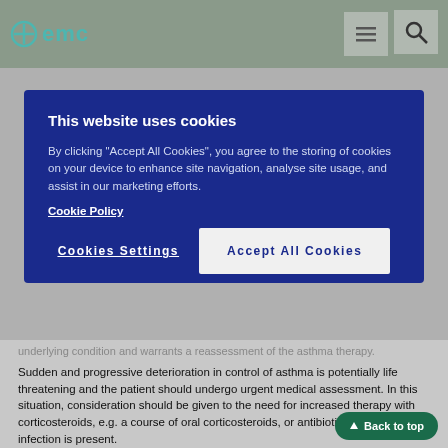emc
This website uses cookies
By clicking "Accept All Cookies", you agree to the storing of cookies on your device to enhance site navigation, analyse site usage, and assist in our marketing efforts. Cookie Policy
Cookies Settings | Accept All Cookies
underlying condition and warrants a reassessment of the asthma therapy. Sudden and progressive deterioration in control of asthma is potentially life threatening and the patient should undergo urgent medical assessment. In this situation, consideration should be given to the need for increased therapy with corticosteroids, e.g. a course of oral corticosteroids, or antibiotic treatment if an infection is present.
Patients should not be initiated on Symbicort during an exacerbation, or if they have significantly worsening or acutely deteriorating asthma.
Transfer from oral therapy
If there is any reason to suppose that adrenal function is impaired from previous systemic steroid therapy, care should be taken when transferring